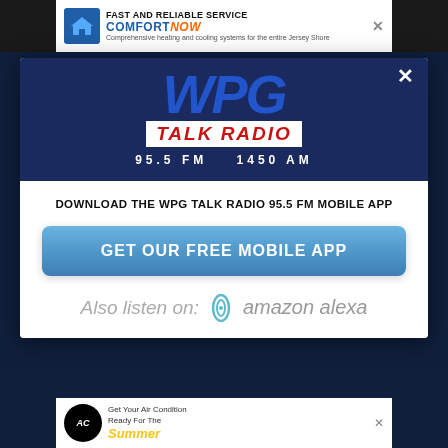[Figure (screenshot): Top advertisement banner for ComfortNow HVAC service: 'FAST AND RELIABLE SERVICE COMFORT NOW']
[Figure (logo): WPG Talk Radio logo: blue italic WPG text, red TALK RADIO text, white 95.5 FM 1450 AM frequency text on dark blue background]
DOWNLOAD THE WPG TALK RADIO 95.5 FM MOBILE APP
GET OUR FREE MOBILE APP
Also listen on: amazon alexa
[Figure (screenshot): Bottom advertisement banner for Ambient Comfort AC service: 'Get Your Air Condition Ready For The Summer']